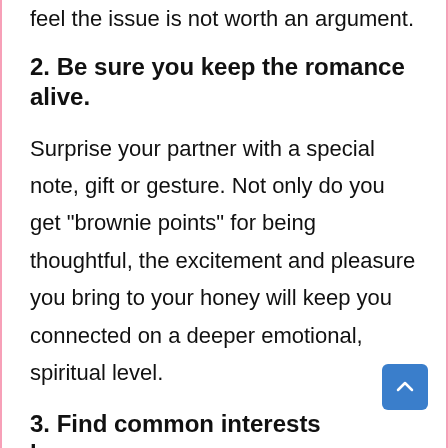feel the issue is not worth an argument.
2. Be sure you keep the romance alive.
Surprise your partner with a special note, gift or gesture. Not only do you get “brownie points” for being thoughtful, the excitement and pleasure you bring to your honey will keep you connected on a deeper emotional, spiritual level.
3. Find common interests because